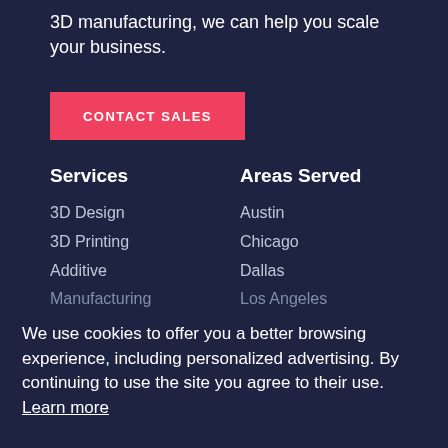3D manufacturing, we can help you scale your business.
CONTACT SALES
Services
Areas Served
3D Design
3D Printing
Additive
Manufacturing
Austin
Chicago
Dallas
Los Angeles
We use cookies to offer you a better browsing experience, including personalized advertising. By continuing to use the site you agree to their use. Learn more
OK